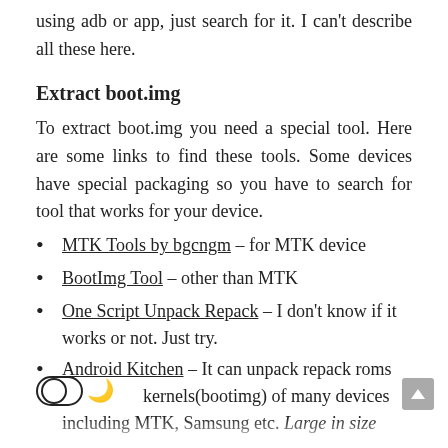using adb or app, just search for it. I can't describe all these here.
Extract boot.img
To extract boot.img you need a special tool. Here are some links to find these tools. Some devices have special packaging so you have to search for tool that works for your device.
MTK Tools by bgcngm – for MTK device
BootImg Tool – other than MTK
One Script Unpack Repack – I don't know if it works or not. Just try.
Android Kitchen – It can unpack repack roms kernels(bootimg) of many devices including MTK, Samsung etc. Large in size